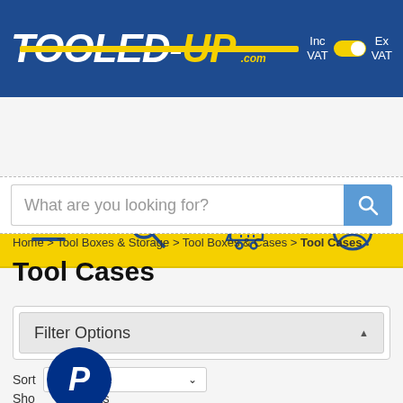[Figure (screenshot): Tooled-Up.com website header with blue background, yellow logo text, and VAT toggle switch]
[Figure (screenshot): Yellow navigation bar with hamburger menu, search, cart, and account icons]
What are you looking for?
Home > Tool Boxes & Storage > Tool Boxes & Cases > Tool Cases
Tool Cases
Filter Options
Sort: Relevance
Show results
[Figure (logo): PayPal circular blue bubble with white P letter]